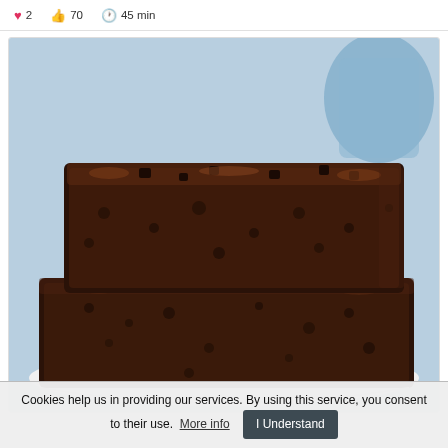2  70  45 min
[Figure (photo): Two stacked chocolate brownies with chocolate chips on a white plate, against a blue background with a blurred blue mug.]
Cookies help us in providing our services. By using this service, you consent to their use. More info   I Understand